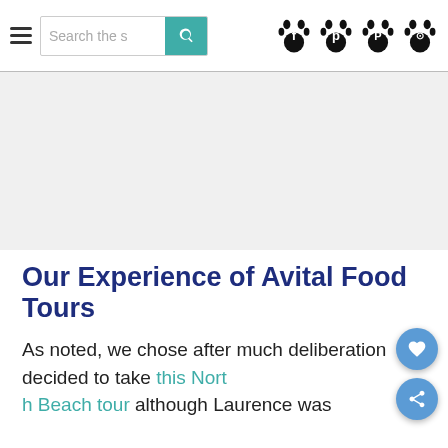Search the s [search button] [paw icons: f, p, p, instagram]
[Figure (other): Advertisement placeholder area — light grey background]
Our Experience of Avital Food Tours
As noted, we chose after much deliberation decided to take this North Beach tour although Laurence was